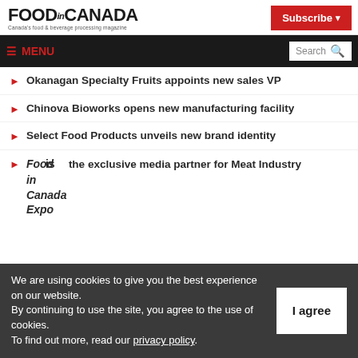FOOD in CANADA — Canada's food & beverage processing magazine
Subscribe ▾
☰ MENU | Search
Okanagan Specialty Fruits appoints new sales VP
Chinova Bioworks opens new manufacturing facility
Select Food Products unveils new brand identity
Food in Canada is the exclusive media partner for Meat Industry Expo
We are using cookies to give you the best experience on our website. By continuing to use the site, you agree to the use of cookies. To find out more, read our privacy policy.
I agree